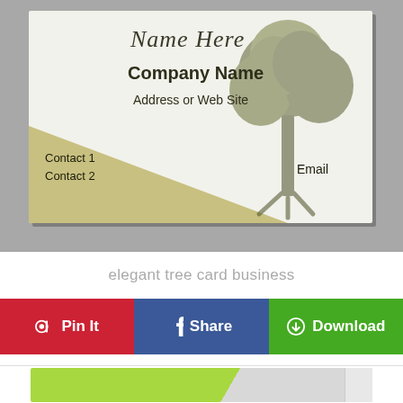[Figure (illustration): A business card design showing an elegant olive/gold tree silhouette on the right side with a diagonal gold/white background split. Text placeholders: 'Name Here' in italic script at top, 'Company Name' in bold, 'Address or Web Site', 'Contact 1', 'Contact 2' on lower left, and 'Email' on lower right.]
elegant tree card business
Pin It
Share
Download
[Figure (illustration): Partial view of another business card design with bright lime green background]